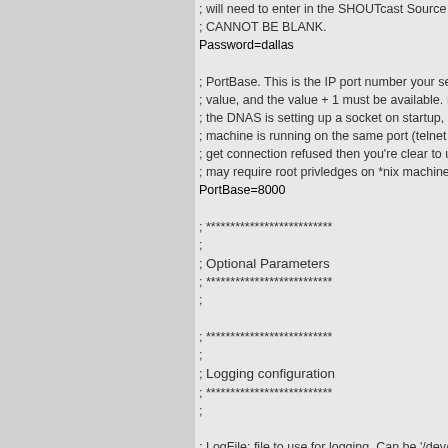; will need to enter in the SHOUTcast Source
; CANNOT BE BLANK.
Password=dallas

; PortBase. This is the IP port number your se
; value, and the value + 1 must be available. It
; the DNAS is setting up a socket on startup, n
; machine is running on the same port (telnet b
; get connection refused then you're clear to u
; may require root privledges on *nix machines
PortBase=8000

; **************************
;
; Optional Parameters
; **************************
;

; **************************
;
; Logging configuration
; **************************
;

; LogFile: file to use for logging. Can be '/dev/n
; or empty to turn off logging. The default is ./s
; on *nix systems or sc_serv_dir\sc_serv.log o
; Note: on win32 systems if no path is specifie
; in the same dir as the executable, on *nix sy
; current directory.
LogFile=sc_serv.log

; RealTime displays a status line that is update
; with the latest information on the current stre
; console systems only)
RealTime=1